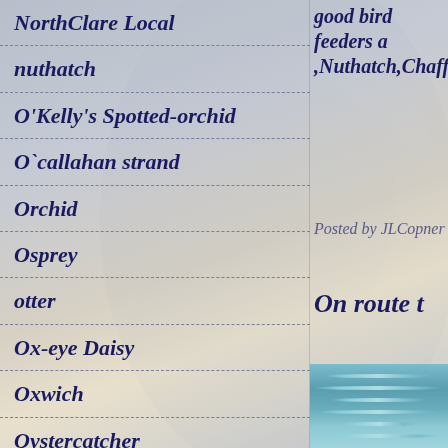NorthClare Local
nuthatch
O'Kelly's Spotted-orchid
O`callahan strand
Orchid
Osprey
otter
Ox-eye Daisy
Oxwich
Oystercatcher
Pacific Golden Plover
good bird feeders a ,Nuthatch,Chaffin
Posted by JLCopner
On route t
[Figure (photo): Water surface with ripples and blue tones, partial photo visible in lower right corner]